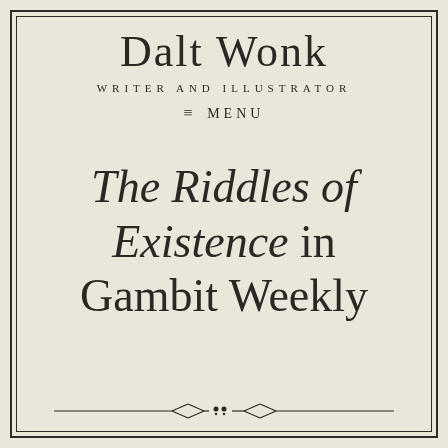Dalt Wonk
WRITER AND ILLUSTRATOR
≡  MENU
The Riddles of Existence in Gambit Weekly
[Figure (illustration): Decorative typographic ornament / divider bar with diamond and dot motifs]